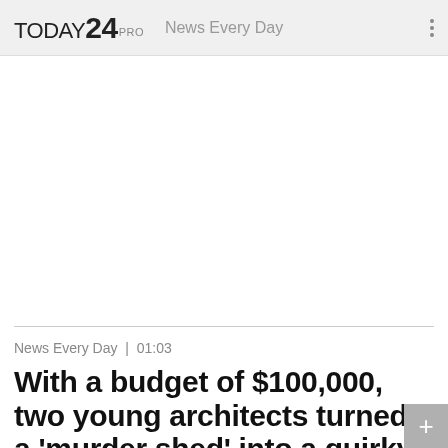TODAY24 PRO   News Every Day
News Every Day | 01:03
With a budget of $100,000, two young architects turned a 'murder shed' into a quirky